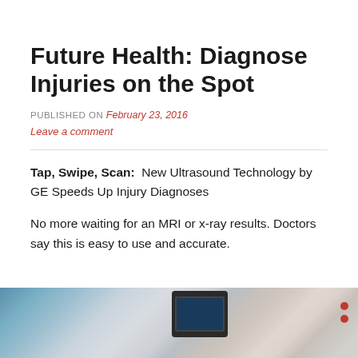Future Health: Diagnose Injuries on the Spot
PUBLISHED ON February 23, 2016
Leave a comment
Tap, Swipe, Scan:  New Ultrasound Technology by GE Speeds Up Injury Diagnoses
No more waiting for an MRI or x-ray results. Doctors say this is easy to use and accurate.
[Figure (photo): Medical ultrasound device equipment, showing a portable GE ultrasound scanner with screen and peripheral attachments in a clinical setting.]